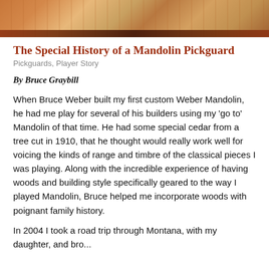[Figure (photo): Close-up photo of a mandolin body showing wood grain, binding, and soundhole detail. Warm orange-brown tones with dark binding.]
The Special History of a Mandolin Pickguard
Pickguards, Player Story
By Bruce Graybill
When Bruce Weber built my first custom Weber Mandolin, he had me play for several of his builders using my 'go to' Mandolin of that time. He had some special cedar from a tree cut in 1910, that he thought would really work well for voicing the kinds of range and timbre of the classical pieces I was playing. Along with the incredible experience of having woods and building style specifically geared to the way I played Mandolin, Bruce helped me incorporate woods with poignant family history.
In 2004 I took a road trip through Montana, with my daughter, and...